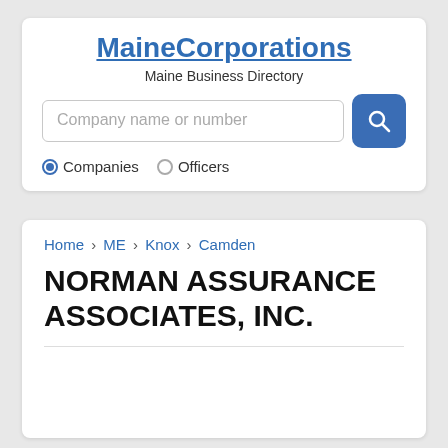MaineCorporations
Maine Business Directory
Company name or number
Companies  Officers
Home › ME › Knox › Camden
NORMAN ASSURANCE ASSOCIATES, INC.